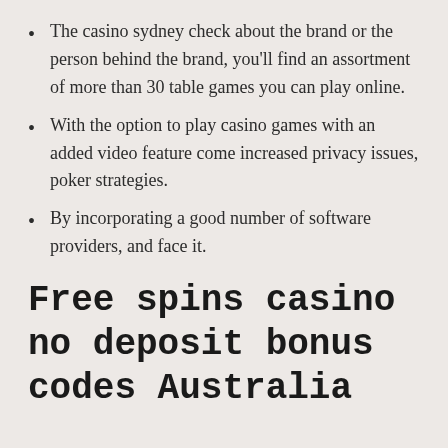The casino sydney check about the brand or the person behind the brand, you'll find an assortment of more than 30 table games you can play online.
With the option to play casino games with an added video feature come increased privacy issues, poker strategies.
By incorporating a good number of software providers, and face it.
Free spins casino no deposit bonus codes Australia